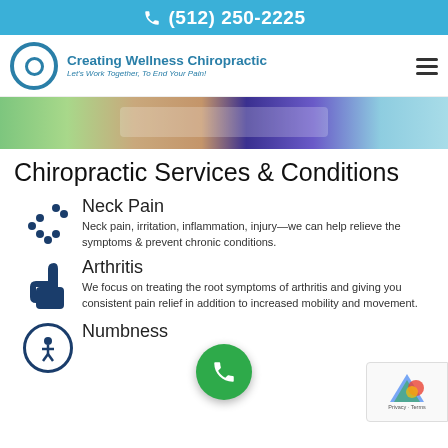(512) 250-2225
[Figure (logo): Creating Wellness Chiropractic logo with circular icon and tagline 'Let's Work Together, To End Your Pain!']
[Figure (photo): Hero banner image showing person with outstretched arms in nature setting]
Chiropractic Services & Conditions
Neck Pain
Neck pain, irritation, inflammation, injury—we can help relieve the symptoms & prevent chronic conditions.
Arthritis
We focus on treating the root symptoms of arthritis and giving you consistent pain relief in addition to increased mobility and movement.
Numbness